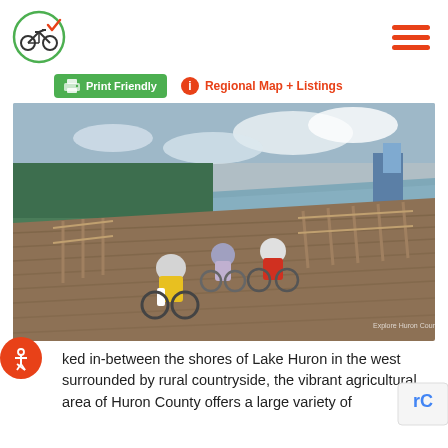[Figure (logo): Bicycle with green circle and orange checkmark logo]
[Figure (other): Hamburger menu icon with three orange horizontal lines]
Print Friendly
Regional Map + Listings
[Figure (photo): Three cyclists riding along a wooden boardwalk trail beside a river or lake, with trees and industrial buildings visible in the background. Overcast sky. The lead cyclist wears a yellow vest, the second wears red, and a third is visible further back.]
ked in-between the shores of Lake Huron in the west surrounded by rural countryside, the vibrant agricultural area of Huron County offers a large variety of